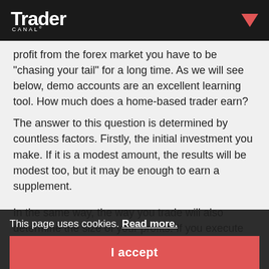Trader Canal
profit from the forex market you have to be "chasing your tail" for a long time. As we will see below, demo accounts are an excellent learning tool. How much does a home-based trader earn?
The answer to this question is determined by countless factors. Firstly, the initial investment you make. If it is a modest amount, the results will be modest too, but it may be enough to earn a supplement.
In the same way, the way you trade will also determine the size of your profits. If you execute trades that are short, highly leveraged and of large profit volume may be high, but you also run the risk of losing a lot of money.
This page uses cookies. Read more.
I accept